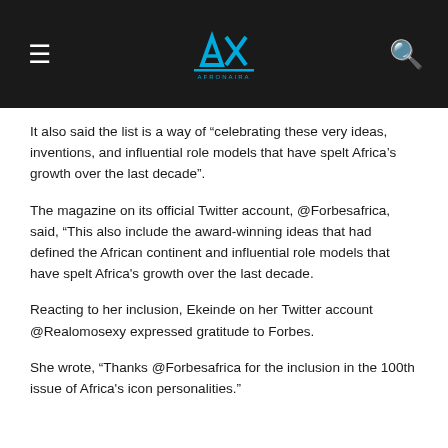AX [logo]
It also said the list is a way of “celebrating these very ideas, inventions, and influential role models that have spelt Africa’s growth over the last decade”.
The magazine on its official Twitter account, @Forbesafrica, said, “This also include the award-winning ideas that had defined the African continent and influential role models that have spelt Africa's growth over the last decade.
Reacting to her inclusion, Ekeinde on her Twitter account @Realomosexy expressed gratitude to Forbes.
She wrote, “Thanks @Forbesafrica for the inclusion in the 100th issue of Africa's icon personalities.”